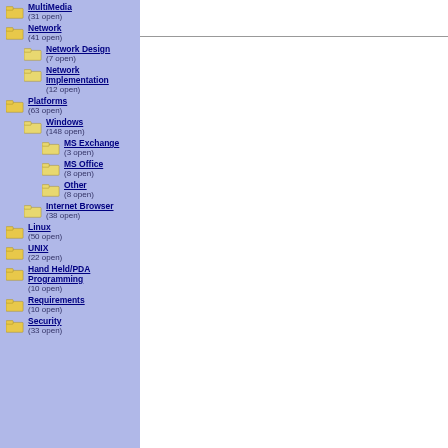MultiMedia (31 open)
Network (41 open)
Network Design (7 open)
Network Implementation (12 open)
Platforms (63 open)
Windows (148 open)
MS Exchange (3 open)
MS Office (8 open)
Other (8 open)
Internet Browser (38 open)
Linux (50 open)
UNIX (22 open)
Hand Held/PDA Programming (10 open)
Requirements (10 open)
Security (33 open)